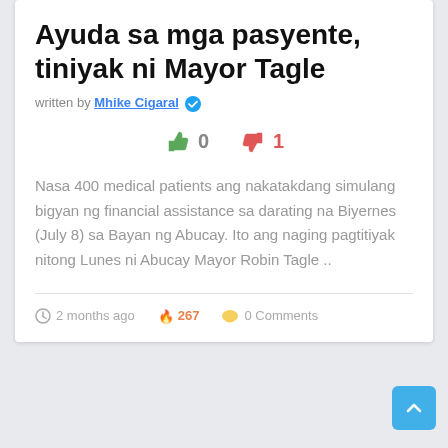Ayuda sa mga pasyente, tiniyak ni Mayor Tagle
Written by Mhike Cigaral ✓
👍 0   👎 1
Nasa 400 medical patients ang nakatakdang simulang bigyan ng financial assistance sa darating na Biyernes (July 8) sa Bayan ng Abucay. Ito ang naging pagtitiyak nitong Lunes ni Abucay Mayor Robin Tagle ..
🕐 2 months ago   🔥 267   💬 0 Comments